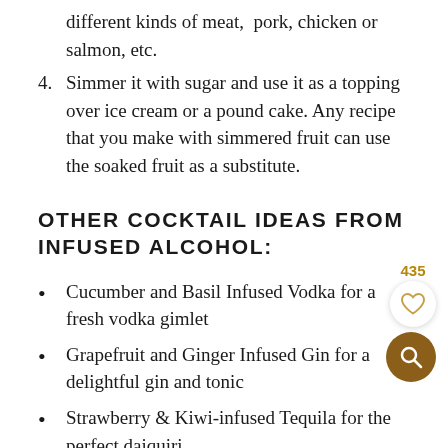different kinds of meat,  pork, chicken or salmon, etc.
4. Simmer it with sugar and use it as a topping over ice cream or a pound cake. Any recipe that you make with simmered fruit can use the soaked fruit as a substitute.
OTHER COCKTAIL IDEAS FROM INFUSED ALCOHOL:
Cucumber and Basil Infused Vodka for a fresh vodka gimlet
Grapefruit and Ginger Infused Gin for a delightful gin and tonic
Strawberry & Kiwi-infused Tequila for the perfect daiquiri